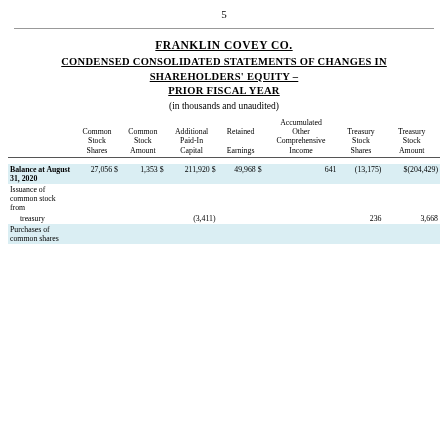5
FRANKLIN COVEY CO.
CONDENSED CONSOLIDATED STATEMENTS OF CHANGES IN SHAREHOLDERS' EQUITY – PRIOR FISCAL YEAR
(in thousands and unaudited)
|  | Common Stock Shares | Common Stock Amount | Additional Paid-In Capital | Retained Earnings | Accumulated Other Comprehensive Income | Treasury Stock Shares | Treasury Stock Amount |
| --- | --- | --- | --- | --- | --- | --- | --- |
| Balance at August 31, 2020 | 27,056 | $ | 1,353 | $ | 211,920 | $ | 49,968 | $ | 641 | (13,175) | $(204,429) |
| Issuance of common stock from |  |  |  |  |  |  |  |  |  |  |  |
|   treasury |  |  |  | (3,411) |  |  |  |  |  | 236 | 3,668 |
| Purchases of common shares |  |  |  |  |  |  |  |  |  |  |  |